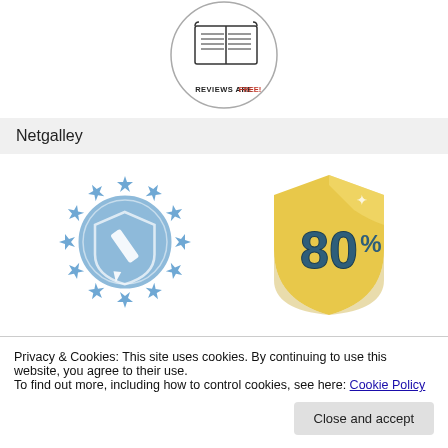[Figure (logo): Circular badge with an open book and text 'REVIEWS ARE FREE!' in black and red]
Netgalley
[Figure (logo): Two badge logos: a blue circle badge with stars and a pen/shield icon, and a yellow shield badge showing '80%']
Privacy & Cookies: This site uses cookies. By continuing to use this website, you agree to their use.
To find out more, including how to control cookies, see here: Cookie Policy
Close and accept